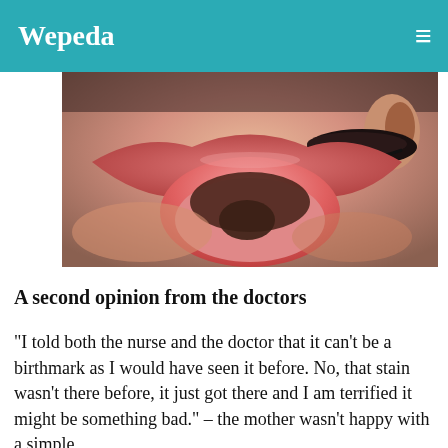Wepeda
[Figure (photo): Close-up medical photograph of a child's open mouth showing the inside of the mouth, tongue, and lips, with the child's eye and eyelashes visible in the upper right. The image appears to show a dark stain or birthmark inside the mouth.]
A second opinion from the doctors
"I told both the nurse and the doctor that it can't be a birthmark as I would have seen it before. No, that stain wasn't there before, it just got there and I am terrified it might be something bad." – the mother wasn't happy with a simple